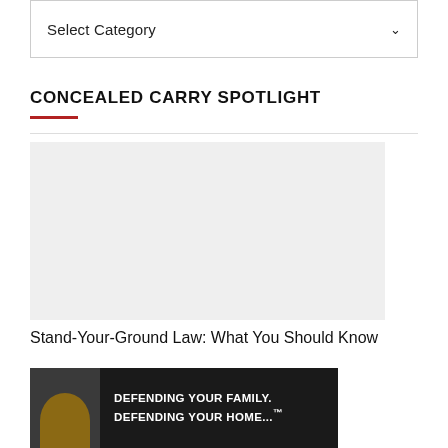Select Category
CONCEALED CARRY SPOTLIGHT
[Figure (photo): Light gray placeholder image for article thumbnail]
Stand-Your-Ground Law: What You Should Know
[Figure (photo): Dark promotional image with person and text: DEFENDING YOUR FAMILY. DEFENDING YOUR HOME...]